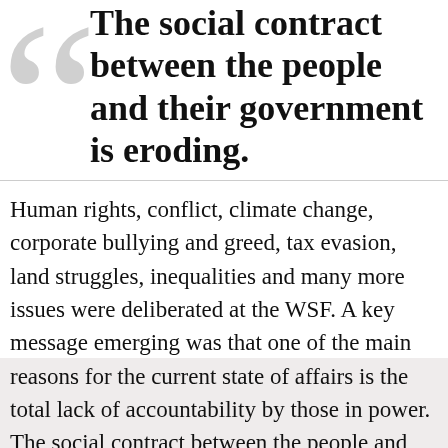The social contract between the people and their government is eroding.
Human rights, conflict, climate change, corporate bullying and greed, tax evasion, land struggles, inequalities and many more issues were deliberated at the WSF. A key message emerging was that one of the main reasons for the current state of affairs is the total lack of accountability by those in power.  The social contract between the people and their government is eroding. Amnesty's